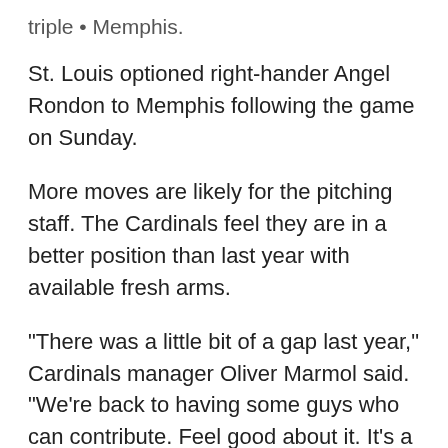triple • Memphis.
St. Louis optioned right-hander Angel Rondon to Memphis following the game on Sunday.
More moves are likely for the pitching staff. The Cardinals feel they are in a better position than last year with available fresh arms.
"There was a little bit of a gap last year," Cardinals manager Oliver Marmol said. "We're back to having some guys who can contribute. Feel good about it. It's a challenge, but not in any way close to devastating."